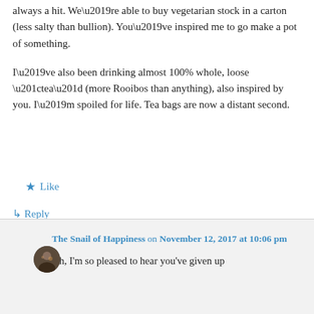always a hit. We’re able to buy vegetarian stock in a carton (less salty than bullion). You’ve inspired me to go make a pot of something.
I’ve also been drinking almost 100% whole, loose “tea” (more Rooibos than anything), also inspired by you. I’m spoiled for life. Tea bags are now a distant second.
★ Like
↳ Reply
The Snail of Happiness on November 12, 2017 at 10:06 pm
Oh, I’m so pleased to hear you’ve given up